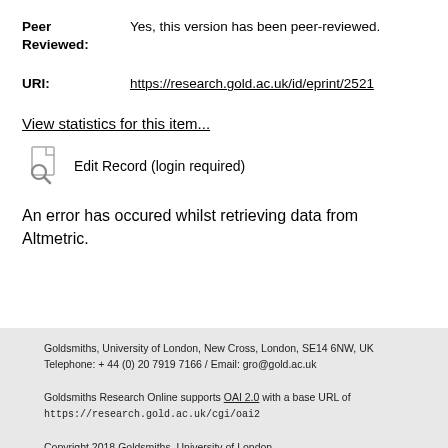Peer Reviewed: Yes, this version has been peer-reviewed.
URI: https://research.gold.ac.uk/id/eprint/2521
View statistics for this item...
[Figure (other): Edit Record icon (magnifying glass over document)]
Edit Record (login required)
An error has occured whilst retrieving data from Altmetric.
Goldsmiths, University of London, New Cross, London, SE14 6NW, UK
Telephone: + 44 (0) 20 7919 7166 / Email: gro@gold.ac.uk

Goldsmiths Research Online supports OAI 2.0 with a base URL of
https://research.gold.ac.uk/cgi/oai2

Copyright 2018 Goldsmiths, University of London.